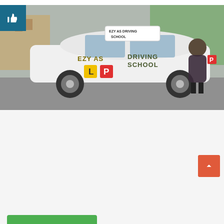[Figure (photo): Photo of a white Toyota hatchback with 'EZY AS DRIVING SCHOOL' branding, L and P plates on the car door. A woman in a floral dress holds a red P plate and stands beside the car. A thumbs-up icon in a teal box appears in the top-left corner of the image.]
Ezy As Driving School
61 Moxon Road Punchbowl, NSW 2196
Distance: 6 km
About Us Our goal is to give learners and international drive knowledge, confidence and experience to become responsible safe drivers. Our friendly dedicated team is committed to meeting thos
more...
| People | Cars | Transmission | Map |
| --- | --- | --- | --- |
| 0 | 1 | Automatic | Show on Map |